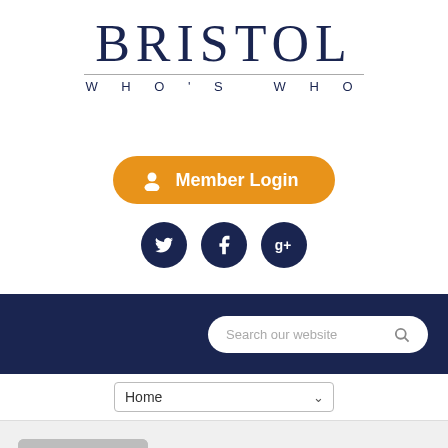[Figure (logo): Bristol Who's Who logo with large serif BRISTOL text, horizontal divider line, and spaced sans-serif WHO'S WHO subtitle]
[Figure (illustration): Orange rounded rectangle Member Login button with user icon and white text]
[Figure (illustration): Three dark navy circular social media icons: Twitter bird, Facebook f, Google+ g+]
[Figure (screenshot): Dark navy navigation bar with white rounded search box containing placeholder text 'Search our website' and magnifying glass icon]
[Figure (screenshot): White bar with dropdown selector showing 'Home' and a chevron arrow]
[Figure (illustration): Gray profile placeholder image showing generic person silhouette on light gray background]